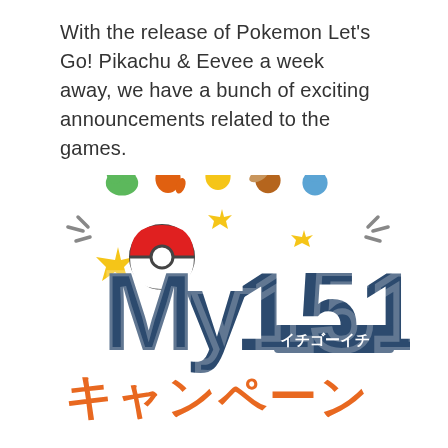With the release of Pokemon Let's Go! Pikachu & Eevee a week away, we have a bunch of exciting announcements related to the games.
[Figure (logo): My151 campaign logo featuring Pokemon silhouettes (Bulbasaur green, Charmander orange, Pikachu yellow, Eevee brown, Squirtle blue) above large bold dark blue letters 'My151' with a Pokeball, yellow stars/sparkles, and orange Japanese katakana text reading 'キャンペーン' (campaign) with 'イチゴーイチ' subtitle.]